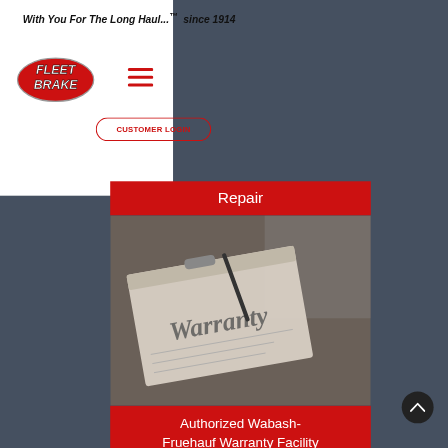With You For The Long Haul...™  since 1914
[Figure (logo): Fleet Brake logo — red oval with white bold italic text FLEET BRAKE]
[Figure (other): Hamburger menu icon — three red horizontal lines]
CUSTOMER LOGIN
Repair
[Figure (photo): Grayscale photo of a clipboard with a paper titled 'Warranty' and a pen/calculator]
Authorized Wabash-Fruehauf Warranty Facility